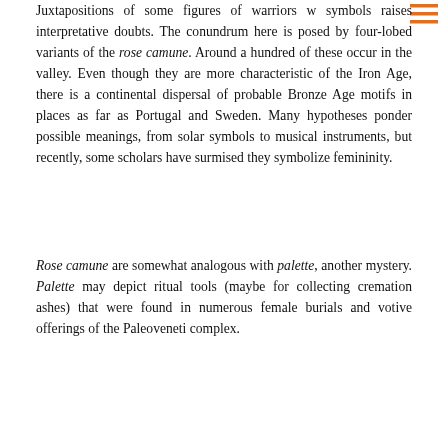Juxtapositions of some figures of warriors w symbols raises interpretative doubts. The conundrum here is posed by four-lobed variants of the rose camune. Around a hundred of these occur in the valley. Even though they are more characteristic of the Iron Age, there is a continental dispersal of probable Bronze Age motifs in places as far as Portugal and Sweden. Many hypotheses ponder possible meanings, from solar symbols to musical instruments, but recently, some scholars have surmised they symbolize femininity.
Rose camune are somewhat analogous with palette, another mystery. Palette may depict ritual tools (maybe for collecting cremation ashes) that were found in numerous female burials and votive offerings of the Paleoveneti complex.